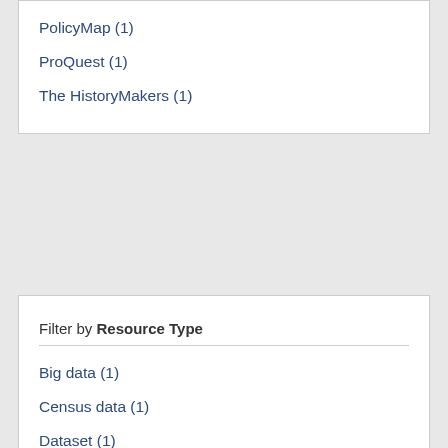PolicyMap (1)
ProQuest (1)
The HistoryMakers (1)
Filter by Resource Type
Big data (1)
Census data (1)
Dataset (1)
Economic information (2)
Financial data (1)
Geospatial data (1)
Maps (1)
News databases (1)